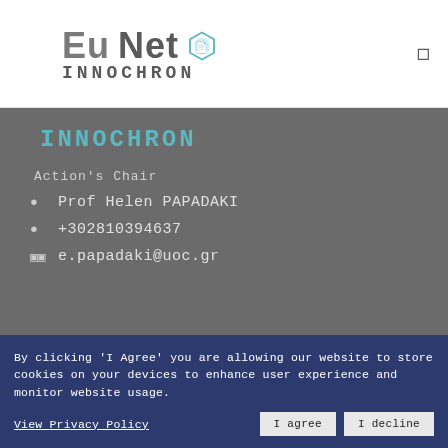[Figure (logo): EuNet INNOCHRON logo with teal hexagon icon]
INNOCHRON
Action's Chair
Prof Helen PAPADAKI
+302810394637
e.papadaki@uoc.gr
By clicking 'I Agree' you are allowing our website to store cookies on your devices to enhance user experience and monitor website usage.
View Privacy Policy
I agree
I decline